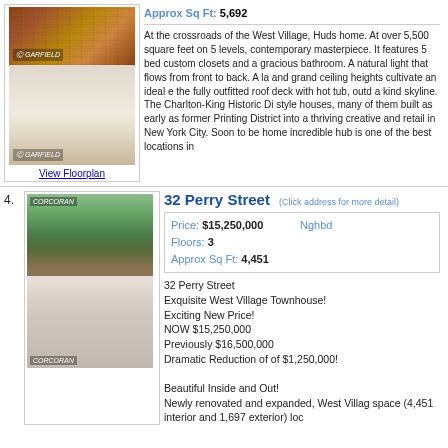Approx Sq Ft: 5,692
At the crossroads of the West Village, Huds home. At over 5,500 square feet on 5 levels, contemporary masterpiece. It features 5 bed custom closets and a gracious bathroom. A natural light that flows from front to back. A la and grand ceiling heights cultivate an ideal e the fully outfitted roof deck with hot tub, outd a kind skyline. The Charlton-King Historic Di style houses, many of them built as early as former Printing District into a thriving creative and retail in New York City. Soon to be home incredible hub is one of the best locations in
[Figure (photo): Exterior photo of brick townhouse building]
[Figure (photo): Interior photo of renovated room with bright windows]
View Floorplan
4.
32 Perry Street
(Click address for more detail)
| Property Info | Nghbd |
| --- | --- |
| Price: $15,250,000 | Nghbd |
| Floors: 3 |  |
| Approx Sq Ft: 4,451 |  |
32 Perry Street
Exquisite West Village Townhouse!
Exciting New Price!
NOW $15,250,000
Previously $16,500,000
Dramatic Reduction of of $1,250,000!

Beautiful Inside and Out!
Newly renovated and expanded, West Villag space (4,451 interior and 1,697 exterior) loc
[Figure (photo): Exterior photo of 32 Perry Street townhouse with greenery]
[Figure (photo): Interior photo of 32 Perry Street living area with fireplace]